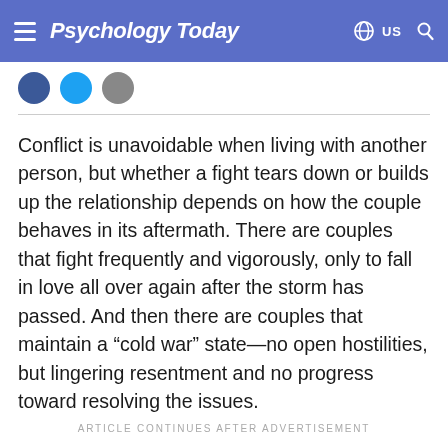Psychology Today  US
Conflict is unavoidable when living with another person, but whether a fight tears down or builds up the relationship depends on how the couple behaves in its aftermath. There are couples that fight frequently and vigorously, only to fall in love all over again after the storm has passed. And then there are couples that maintain a “cold war” state—no open hostilities, but lingering resentment and no progress toward resolving the issues.
ARTICLE CONTINUES AFTER ADVERTISEMENT